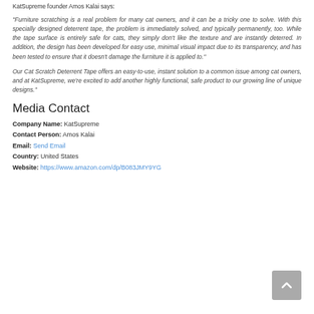KatSupreme founder Amos Kalai says:
“Furniture scratching is a real problem for many cat owners, and it can be a tricky one to solve. With this specially designed deterrent tape, the problem is immediately solved, and typically permanently, too. While the tape surface is entirely safe for cats, they simply don’t like the texture and are instantly deterred. In addition, the design has been developed for easy use, minimal visual impact due to its transparency, and has been tested to ensure that it doesn’t damage the furniture it is applied to.”
Our Cat Scratch Deterrent Tape offers an easy-to-use, instant solution to a common issue among cat owners, and at KatSupreme, we’re excited to add another highly functional, safe product to our growing line of unique designs.”
Media Contact
Company Name: KatSupreme
Contact Person: Amos Kalai
Email: Send Email
Country: United States
Website: https://www.amazon.com/dp/B083JMY9YG